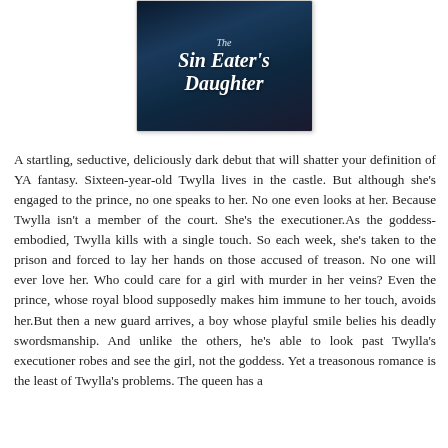[Figure (illustration): Book cover of 'The Sin Eater's Daughter' with dark blue/navy background and stylized white handwritten-style title text]
A startling, seductive, deliciously dark debut that will shatter your definition of YA fantasy. Sixteen-year-old Twylla lives in the castle. But although she's engaged to the prince, no one speaks to her. No one even looks at her. Because Twylla isn't a member of the court. She's the executioner.As the goddess-embodied, Twylla kills with a single touch. So each week, she's taken to the prison and forced to lay her hands on those accused of treason. No one will ever love her. Who could care for a girl with murder in her veins? Even the prince, whose royal blood supposedly makes him immune to her touch, avoids her.But then a new guard arrives, a boy whose playful smile belies his deadly swordsmanship. And unlike the others, he's able to look past Twylla's executioner robes and see the girl, not the goddess. Yet a treasonous romance is the least of Twylla's problems. The queen has a